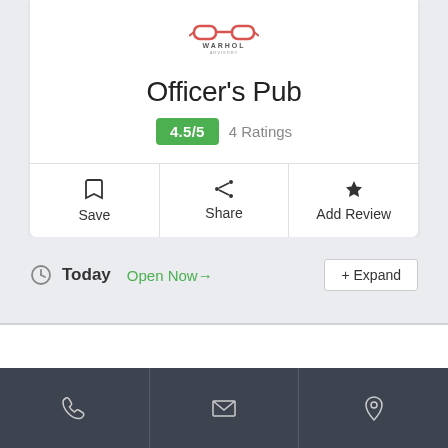[Figure (logo): Warhol company logo with red glasses icon and text WARHOL]
Officer's Pub
4.5/5  4 Ratings
Save  Share  Add Review
Today  Open Now→  + Expand
[Figure (infographic): Bottom dark navigation bar with phone, email, and location pin icons]